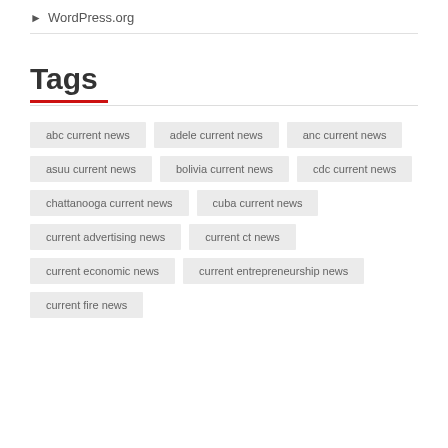WordPress.org
Tags
abc current news
adele current news
anc current news
asuu current news
bolivia current news
cdc current news
chattanooga current news
cuba current news
current advertising news
current ct news
current economic news
current entrepreneurship news
current fire news